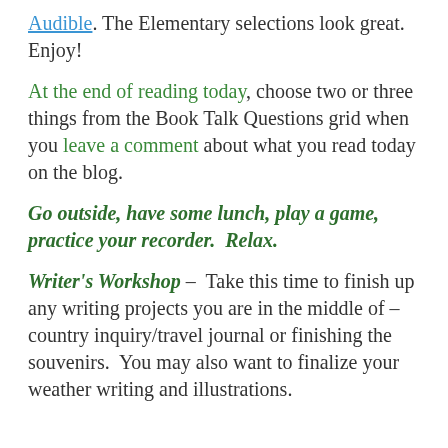Audible. The Elementary selections look great. Enjoy!
At the end of reading today, choose two or three things from the Book Talk Questions grid when you leave a comment about what you read today on the blog.
Go outside, have some lunch, play a game, practice your recorder.  Relax.
Writer's Workshop – Take this time to finish up any writing projects you are in the middle of – country inquiry/travel journal or finishing the souvenirs.  You may also want to finalize your weather writing and illustrations.